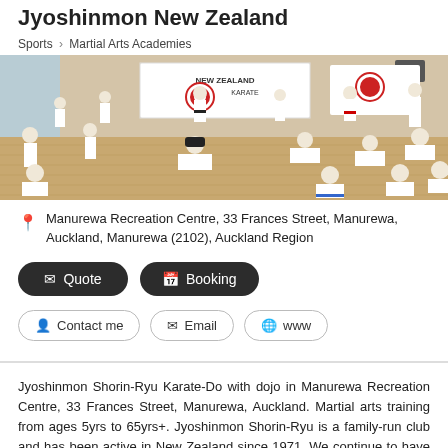Jyoshinmon New Zealand
Sports > Martial Arts Academies
[Figure (photo): Indoor karate dojo with students in white gi uniforms practicing on a wooden floor. Banners on the wall including a New Zealand Karate banner with a circular logo. Students of various ages are training.]
Manurewa Recreation Centre, 33 Frances Street, Manurewa, Auckland, Manurewa (2102), Auckland Region
Quote  Booking
Contact me  Email  www
Jyoshinmon Shorin-Ryu Karate-Do with dojo in Manurewa Recreation Centre, 33 Frances Street, Manurewa, Auckland. Martial arts training from ages 5yrs to 65yrs+. Jyoshinmon Shorin-Ryu is a family-run club and has been active in New Zealand since 1971. We continue to have close links with Jyoshinmon in Japan and regularly ensure that we are